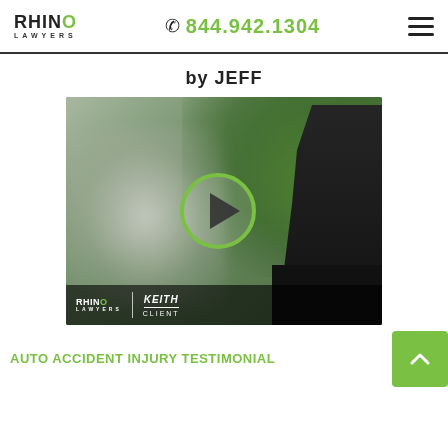Rhino Lawyers | 844.942.1304
by JEFF
[Figure (photo): Video thumbnail of a man sitting in front of green tropical plants. A green play button circle is overlaid in the center. The bottom of the video shows the Rhino Lawyers logo on the left and 'KEITH / CLIENT' text on the right.]
AUTO ACCIDENT INJURY TESTIMONIAL